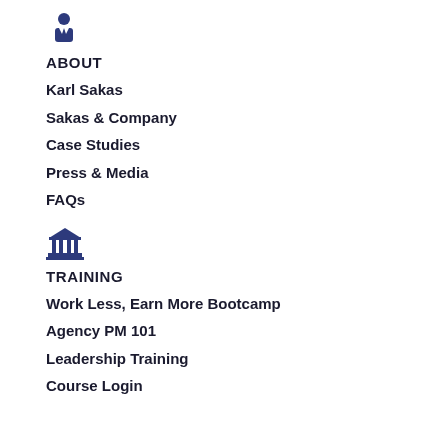[Figure (illustration): Person/businessman icon in dark navy blue]
ABOUT
Karl Sakas
Sakas & Company
Case Studies
Press & Media
FAQs
[Figure (illustration): Bank/institution/training icon in dark navy blue]
TRAINING
Work Less, Earn More Bootcamp
Agency PM 101
Leadership Training
Course Login